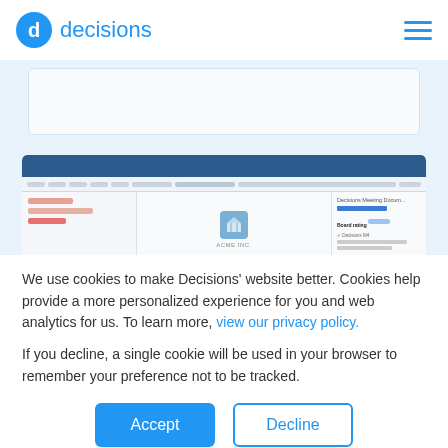[Figure (logo): Decisions logo: blue circle with letter d, followed by the word 'decisions' in blue text. Hamburger menu icon (three blue horizontal lines) on the right.]
[Figure (screenshot): Partial screenshot of a web application interface showing a white card area with light blue background.]
[Figure (screenshot): Main screenshot of Decisions Meeting Document application interface. Dark blue title bar at top, toolbar below, left panel with orange/pink highlighted fields, center area with ACME INC. package/box logo, right panel showing 'Decisions Meeting Docum...' with 'Board rating', 'Decisions M4', member count info.]
We use cookies to make Decisions' website better. Cookies help provide a more personalized experience for you and web analytics for us. To learn more, view our privacy policy.
If you decline, a single cookie will be used in your browser to remember your preference not to be tracked.